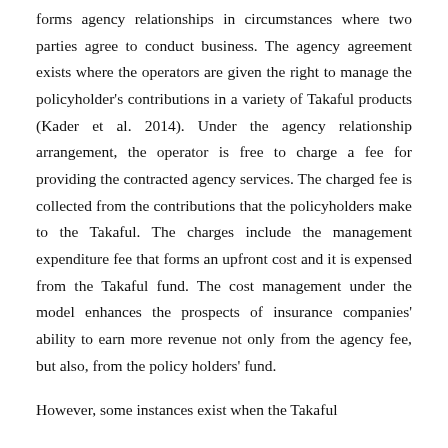forms agency relationships in circumstances where two parties agree to conduct business. The agency agreement exists where the operators are given the right to manage the policyholder's contributions in a variety of Takaful products (Kader et al. 2014). Under the agency relationship arrangement, the operator is free to charge a fee for providing the contracted agency services. The charged fee is collected from the contributions that the policyholders make to the Takaful. The charges include the management expenditure fee that forms an upfront cost and it is expensed from the Takaful fund. The cost management under the model enhances the prospects of insurance companies' ability to earn more revenue not only from the agency fee, but also, from the policy holders' fund.
However, some instances exist when the Takaful